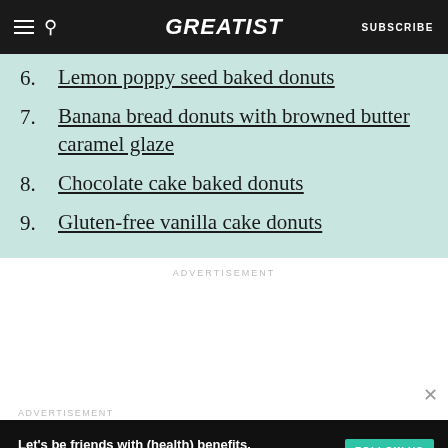GREATIST | SUBSCRIBE
6. Lemon poppy seed baked donuts
7. Banana bread donuts with browned butter caramel glaze
8. Chocolate cake baked donuts
9. Gluten-free vanilla cake donuts
ADVERTISEMENT
ADVERTISEMENT
Let's be friends with (health) benefits. Follow GREATIST on Instagram FOLLOW US